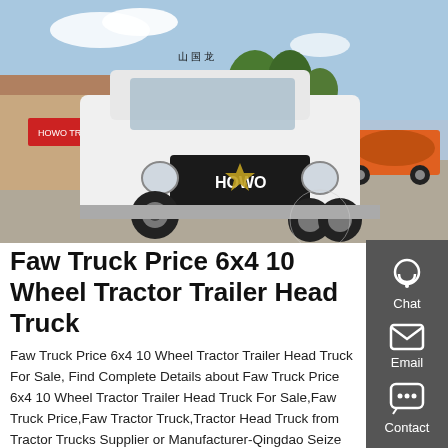[Figure (photo): White HOWO 6x4 tractor truck parked in a yard. Behind it are buildings and another orange truck. The truck has Chinese characters on the cab.]
Faw Truck Price 6x4 10 Wheel Tractor Trailer Head Truck
Faw Truck Price 6x4 10 Wheel Tractor Trailer Head Truck For Sale, Find Complete Details about Faw Truck Price 6x4 10 Wheel Tractor Trailer Head Truck For Sale,Faw Truck Price,Faw Tractor Truck,Tractor Head Truck from Tractor Trucks Supplier or Manufacturer-Qingdao Seize The Future Automobile Sales Co., Ltd.